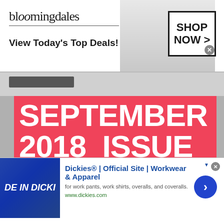[Figure (screenshot): Bloomingdales advertisement banner with logo, 'View Today's Top Deals!' text, a fashion model with a blue hat, and a 'SHOP NOW >' button box]
[Figure (screenshot): Dark gray rectangular button below the Bloomingdales ad]
SEPTEMBER 2018 ISSUE OF BRITISH VOGUE
[Figure (screenshot): Dickies advertisement with thumbnail showing 'DE IN DICKI' text, title 'Dickies® | Official Site | Workwear & Apparel', description 'for work pants, work shirts, overalls, and coveralls.', URL 'www.dickies.com', and a blue circle arrow button]